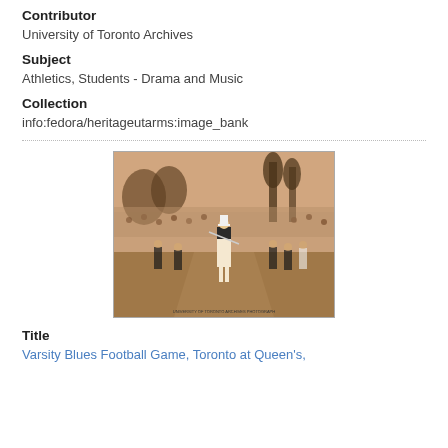Contributor
University of Toronto Archives
Subject
Athletics, Students - Drama and Music
Collection
info:fedora/heritageutarms:image_bank
[Figure (photo): Sepia-toned historical photograph of a marching band or parade on a field, with a drum majorette in the foreground and trees and crowd in the background.]
Title
Varsity Blues Football Game, Toronto at Queen's,